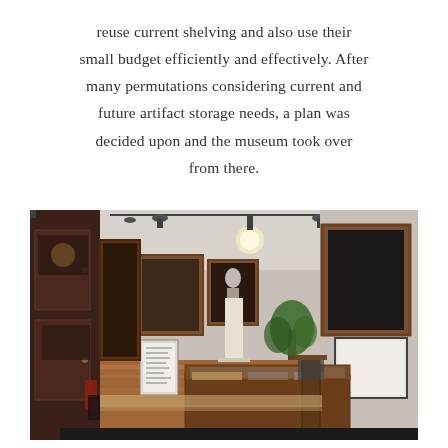reuse current shelving and also use their small budget efficiently and effectively. After many permutations considering current and future artifact storage needs, a plan was decided upon and the museum took over from there.
[Figure (photo): Interior of a museum gallery room showing wooden display cases, framed exhibits on walls, track lighting on ceiling, hardwood floors, and a large display table/chest in the foreground.]